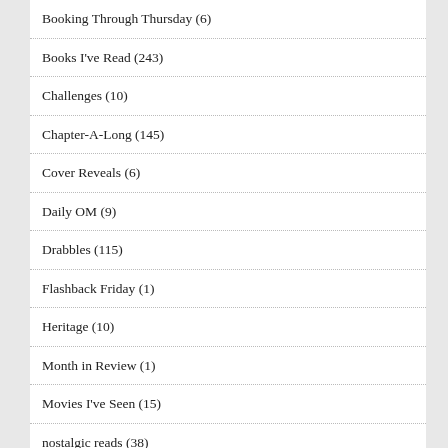Booking Through Thursday (6)
Books I've Read (243)
Challenges (10)
Chapter-A-Long (145)
Cover Reveals (6)
Daily OM (9)
Drabbles (115)
Flashback Friday (1)
Heritage (10)
Month in Review (1)
Movies I've Seen (15)
nostalgic reads (38)